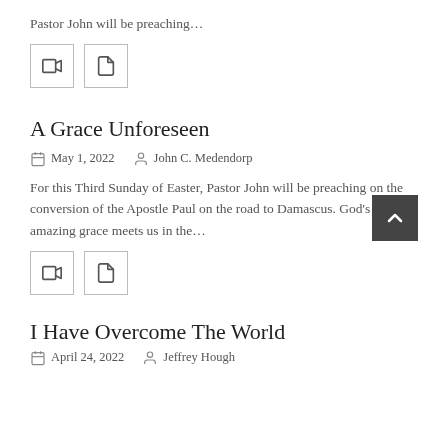Pastor John will be preaching…
[Figure (other): Two icon buttons: a video/media icon and a document icon]
A Grace Unforeseen
May 1, 2022   John C. Medendorp
For this Third Sunday of Easter, Pastor John will be preaching on the conversion of the Apostle Paul on the road to Damascus. God's amazing grace meets us in the…
[Figure (other): Two icon buttons: a video/media icon and a document icon]
I Have Overcome The World
April 24, 2022   Jeffrey Hough